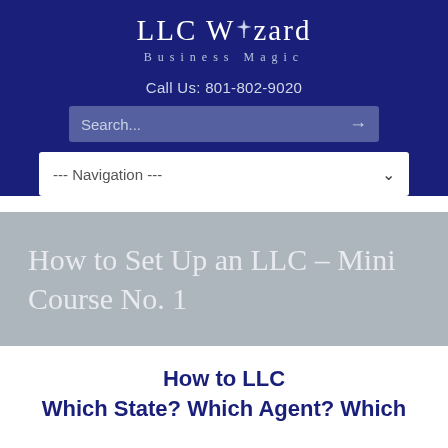[Figure (logo): LLC Wizard Business Magic logo with star/wand icon on dark navy background]
Call Us: 801-802-9020
[Figure (screenshot): Search bar with placeholder text 'Search...' and arrow button]
[Figure (screenshot): Navigation dropdown with text '--- Navigation ---' and chevron]
How to Set Up an LLC – Mini Course No. 1
How to LLC
Which State? Which Agent? Which